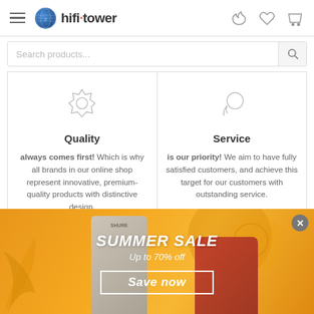hifi tower navigation header
Search products...
Quality
always comes first! Which is why all brands in our online shop represent innovative, premium-quality products with distinctive design.
Service
is our priority! We aim to have fully satisfied customers, and achieve this target for our customers with outstanding service.
[Figure (infographic): Summer Sale banner with products including a microphone and coffee machine, text: SUMMER SALE Up to 70% off, Save now]
SUMMER SALE
Up to 70% off
Save now